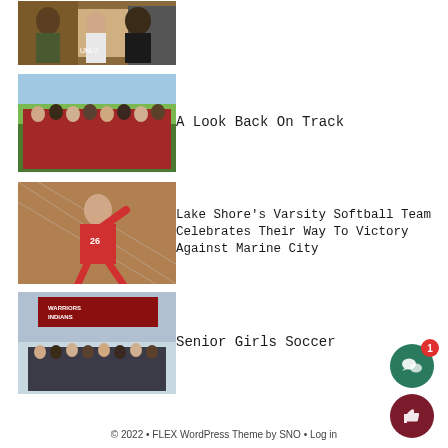[Figure (photo): Three people posing together, one wearing UNLV shirt, at a sports event]
[Figure (photo): Large group of track athletes in red uniforms posing together outdoors]
A Look Back On Track
[Figure (photo): Softball player in red uniform number 26 pitching near chain-link fence]
Lake Shore’s Varsity Softball Team Celebrates Their Way To Victory Against Marine City
[Figure (photo): Group of girls soccer players posing in snowy conditions near scoreboard]
Senior Girls Soccer
© 2022 • FLEX WordPress Theme by SNO • Log in